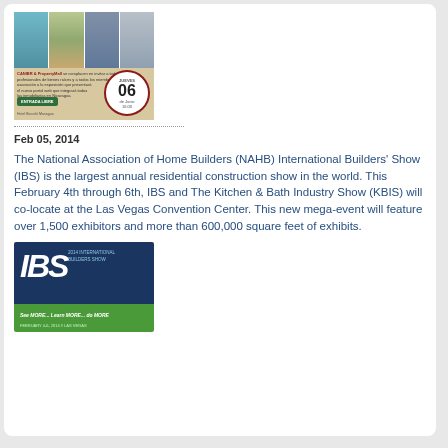[Figure (illustration): Event flyer showing buildings and landscape photos with Spanish text, a circular date badge showing 06 Junio 16:00, and green ENTRADA LIBRE button. Hotel Barceló Managua mentioned.]
Feb 05, 2014
The National Association of Home Builders (NAHB) International Builders' Show (IBS) is the largest annual residential construction show in the world. This February 4th through 6th, IBS and The Kitchen & Bath Industry Show (KBIS) will co-locate at the Las Vegas Convention Center. This new mega-event will feature over 1,500 exhibitors and more than 600,000 square feet of exhibits.
[Figure (illustration): IBS 2014 International Builders Show logo banner. Dark blue background with white italic IBS letters and text '2014 INTERNATIONAL BUILDERS SHOW'. Green bottom strip reads 'See MORE... Learn MORE... do MORE FEBRUARY 4-6, 2014 // LAS VEGAS']